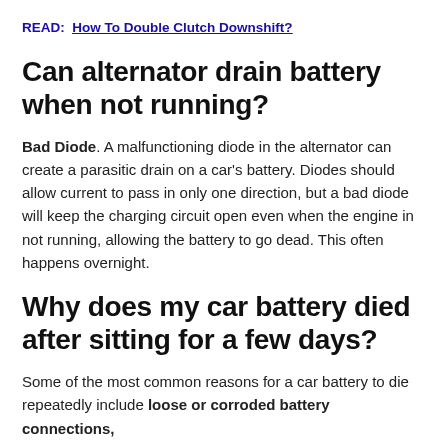READ:  How To Double Clutch Downshift?
Can alternator drain battery when not running?
Bad Diode. A malfunctioning diode in the alternator can create a parasitic drain on a car's battery. Diodes should allow current to pass in only one direction, but a bad diode will keep the charging circuit open even when the engine in not running, allowing the battery to go dead. This often happens overnight.
Why does my car battery died after sitting for a few days?
Some of the most common reasons for a car battery to die repeatedly include loose or corroded battery connections,